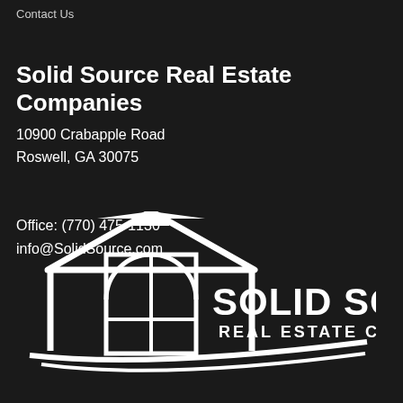Contact Us
Solid Source Real Estate Companies
10900 Crabapple Road
Roswell, GA 30075
Office: (770) 475-1130
info@SolidSource.com
[Figure (logo): Solid Source Real Estate Companies logo: white outline of a house with an arched window and door on a dark background, with text SOLID SOURCE REAL ESTATE COMPANIES to the right]